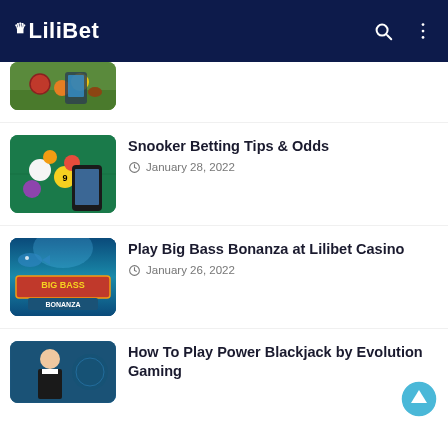LiliBet
[Figure (screenshot): Partial thumbnail of sports betting image showing various sports balls on grass]
[Figure (screenshot): Snooker balls on green table with smartphone]
Snooker Betting Tips & Odds
January 28, 2022
[Figure (screenshot): Big Bass Bonanza casino game promotional image with underwater theme]
Play Big Bass Bonanza at Lilibet Casino
January 26, 2022
[Figure (screenshot): How To Play Power Blackjack by Evolution Gaming - dealer in tuxedo]
How To Play Power Blackjack by Evolution Gaming